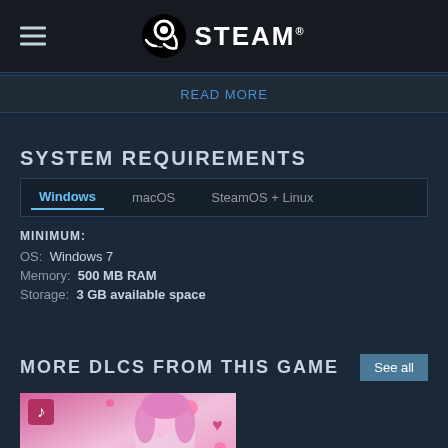STEAM®
READ MORE
SYSTEM REQUIREMENTS
Windows  macOS  SteamOS + Linux
MINIMUM:
OS: Windows 7
Memory: 500 MB RAM
Storage: 3 GB available space
MORE DLCS FROM THIS GAME
[Figure (screenshot): DLC thumbnail image showing anime-style artwork with a pink-haired character, music note icon, and text elements on a pink/white background]